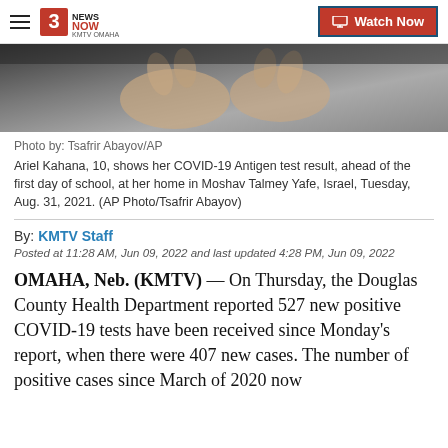3 News Now KMTV Omaha | Watch Now
[Figure (photo): Close-up photo of hands holding a COVID-19 antigen test, dark background]
Photo by: Tsafrir Abayov/AP
Ariel Kahana, 10, shows her COVID-19 Antigen test result, ahead of the first day of school, at her home in Moshav Talmey Yafe, Israel, Tuesday, Aug. 31, 2021. (AP Photo/Tsafrir Abayov)
By: KMTV Staff
Posted at 11:28 AM, Jun 09, 2022 and last updated 4:28 PM, Jun 09, 2022
OMAHA, Neb. (KMTV)  — On Thursday, the Douglas County Health Department reported 527 new positive COVID-19 tests have been received since Monday's report, when there were 407 new cases. The number of positive cases since March of 2020 now